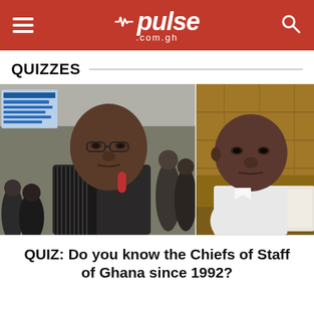pulse .com.gh
QUIZZES
[Figure (photo): Two African men in a composite photo — left: a man in a suit outdoors in a crowd, right: a larger man in a white shirt seated indoors.]
QUIZ: Do you know the Chiefs of Staff of Ghana since 1992?